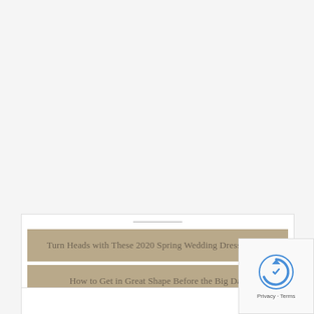Want some inbox LOVE? Sign up for discounts, wedding tips and other fun stuff!
Sweet, sign me up!
Turn Heads with These 2020 Spring Wedding Dress Trends
How to Get in Great Shape Before the Big Day
8 Steps for Getting a Glowing Complexion for Your Wedding Day
Let's Connect
[Figure (other): reCAPTCHA privacy badge]